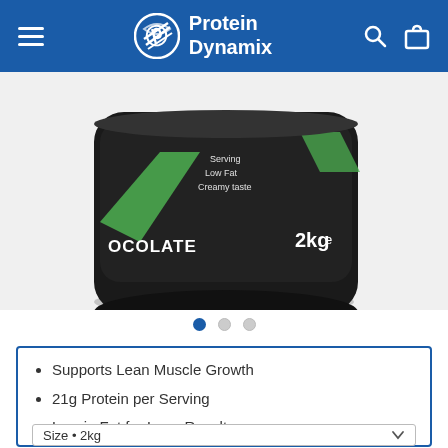Protein Dynamix
[Figure (photo): Protein Dynamix chocolate flavour 2kg protein tub, black container with green and dark labeling, partially cropped showing bottom portion of container]
Supports Lean Muscle Growth
21g Protein per Serving
Low in Fat for Lean Results
Size • 2kg